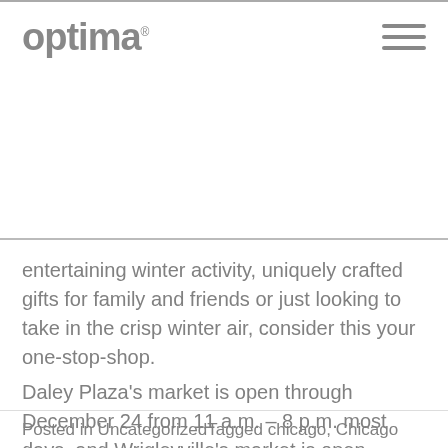optima
entertaining winter activity, uniquely crafted gifts for family and friends or just looking to take in the crisp winter air, consider this your one-stop-shop.
Daley Plaza's market is open through December 24 from 11 a.m. – 8 p.m. most days, and Wrigleyville's market is open through December 31 from 3 p.m. – 9 p.m. most days.
Posted in UncategorizedTagged chicago, Chicago